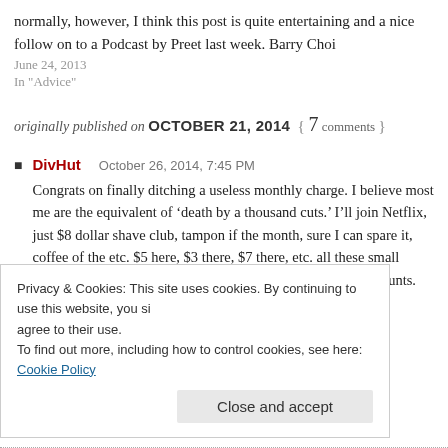normally, however, I think this post is quite entertaining and a nice follow on to a Podcast by Preet last week. Barry Choi
June 24, 2013
In "Advice"
originally published on OCTOBER 21, 2014 { 7 comments }
DivHut   October 26, 2014, 7:45 PM
Congrats on finally ditching a useless monthly charge. I believe most me are the equivalent of ‘death by a thousand cuts.’ I’ll join Netflix, just $8 dollar shave club, tampon if the month, sure I can spare it, coffee of the etc. $5 here, $3 there, $7 there, etc. all these small monthly charges that of or feel but continually drain our accounts. Here’s to saving about $10
Privacy & Cookies: This site uses cookies. By continuing to use this website, you agree to their use.
To find out more, including how to control cookies, see here: Cookie Policy
Close and accept